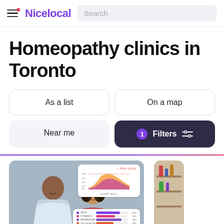Nicelocal | Search
Homeopathy clinics in Toronto
As a list
On a map
Near me
1  Filters
[Figure (screenshot): Photo of two people smiling looking at a device, with an overlay showing a cortisol area chart and a bar chart with health metrics (Iron, Vitamin D, Magnesium, Testosterone, Thyroid)]